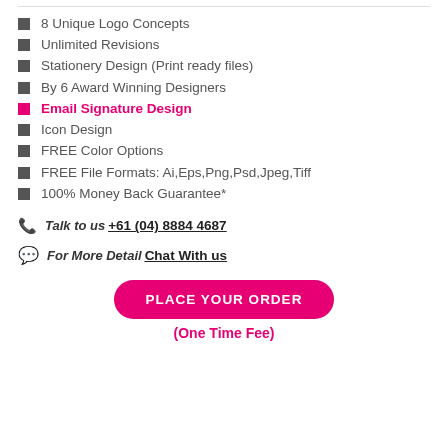8 Unique Logo Concepts
Unlimited Revisions
Stationery Design (Print ready files)
By 6 Award Winning Designers
Email Signature Design
Icon Design
FREE Color Options
FREE File Formats: Ai,Eps,Png,Psd,Jpeg,Tiff
100% Money Back Guarantee*
Talk to us +61 (04) 8884 4687
For More Detail Chat With us
PLACE YOUR ORDER
(One Time Fee)